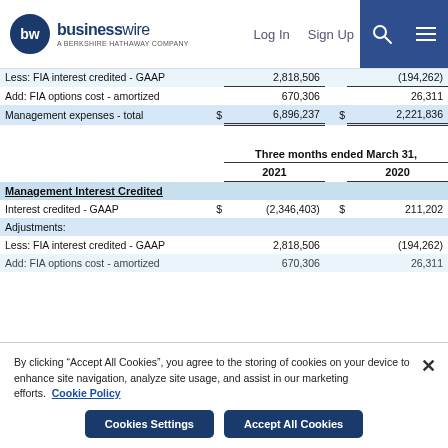businesswire — A BERKSHIRE HATHAWAY COMPANY | Log In | Sign Up
|  | $ | 2021 | $ | 2020 |
| --- | --- | --- | --- | --- |
| Less: FIA interest credited - GAAP |  | 2,818,506 |  | (194,262) |
| Add: FIA options cost - amortized |  | 670,306 |  | 26,311 |
| Management expenses - total | $ | 6,896,237 | $ | 2,221,836 |
| Three months ended March 31, |  |  |  |  |
|  |  | 2021 |  | 2020 |
| Management Interest Credited |  |  |  |  |
| Interest credited - GAAP | $ | (2,346,403) | $ | 211,202 |
| Adjustments: |  |  |  |  |
| Less: FIA interest credited - GAAP |  | 2,818,506 |  | (194,262) |
| Add: FIA options cost - amortized |  | 670,306 |  | 26,311 |
By clicking "Accept All Cookies", you agree to the storing of cookies on your device to enhance site navigation, analyze site usage, and assist in our marketing efforts. Cookie Policy
Cookies Settings | Accept All Cookies